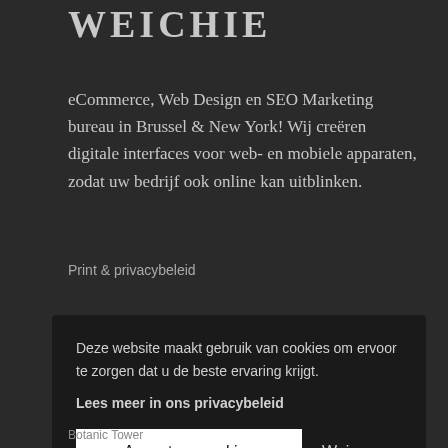WEICHIE
eCommerce, Web Design en SEO Marketing bureau in Brussel & New York! Wij creëren digitale interfaces voor web- en mobiele apparaten, zodat uw bedrijf ook online kan uitblinken.
Print & privacybeleid
Deze website maakt gebruik van cookies om ervoor te zorgen dat u de beste ervaring krijgt.

Lees meer in ons privacybeleid

Accepteer cookies   Weigeren
Botanic Tower